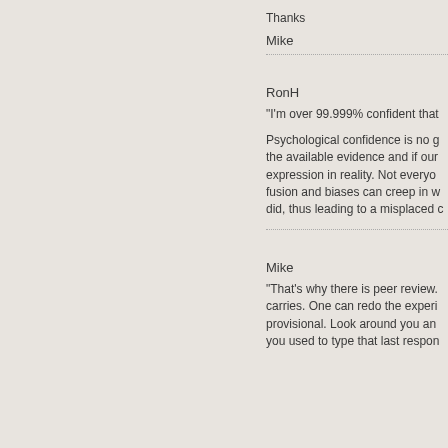Thanks
Mike
RonH
"I'm over 99.999% confident that
Psychological confidence is no g the available evidence and if our expression in reality. Not everyo fusion and biases can creep in w did, thus leading to a misplaced c
Mike
"That's why there is peer review. carries. One can redo the experi provisional. Look around you an you used to type that last respon